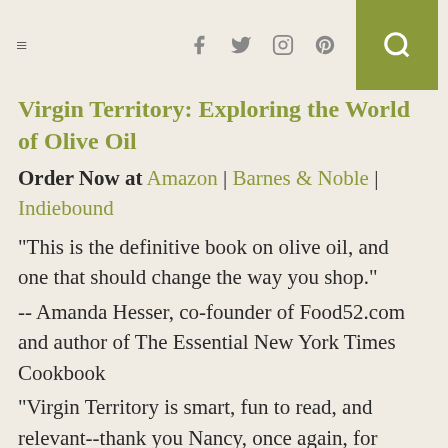≡  f  Twitter  Instagram  Pinterest  🔍
Virgin Territory: Exploring the World of Olive Oil
Order Now at Amazon | Barnes & Noble | Indiebound
"This is the definitive book on olive oil, and one that should change the way you shop."
-- Amanda Hesser, co-founder of Food52.com and author of The Essential New York Times Cookbook
"Virgin Territory is smart, fun to read, and relevant--thank you Nancy, once again, for such good work."
-- Deborah Madison, author of Vegetable Literacy and The New Vegetarian Cooking for Everyone
“Nancy Harmon Jenkins is the leading American authority on olive oil. No...